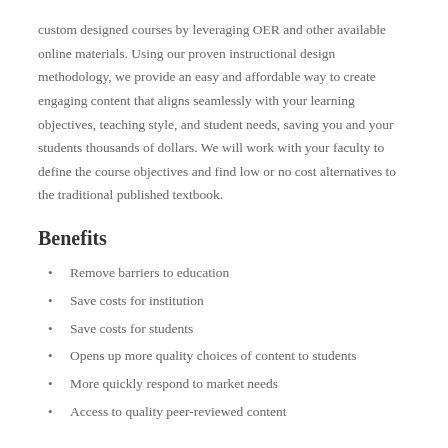custom designed courses by leveraging OER and other available online materials. Using our proven instructional design methodology, we provide an easy and affordable way to create engaging content that aligns seamlessly with your learning objectives, teaching style, and student needs, saving you and your students thousands of dollars. We will work with your faculty to define the course objectives and find low or no cost alternatives to the traditional published textbook.
Benefits
Remove barriers to education
Save costs for institution
Save costs for students
Opens up more quality choices of content to students
More quickly respond to market needs
Access to quality peer-reviewed content